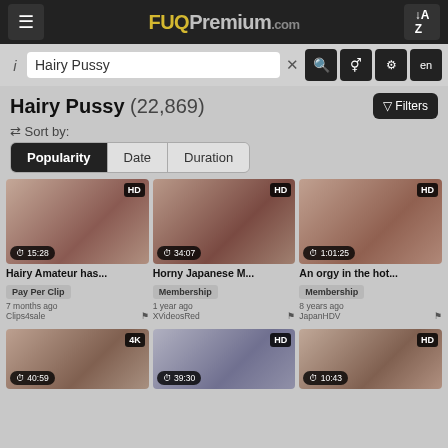FUQPremium.com
Hairy Pussy (search input)
Hairy Pussy (22,869)
Sort by: Popularity  Date  Duration
[Figure (screenshot): Video thumbnail 1 - HD, duration 15:28]
Hairy Amateur has...
Pay Per Clip
7 months ago
Clips4sale
[Figure (screenshot): Video thumbnail 2 - HD, duration 34:07]
Horny Japanese M...
Membership
1 year ago
XVideosRed
[Figure (screenshot): Video thumbnail 3 - HD, duration 1:01:25]
An orgy in the hot...
Membership
8 years ago
JapanHDV
[Figure (screenshot): Video thumbnail 4 - 4K, duration 40:59 (partially visible)]
[Figure (screenshot): Video thumbnail 5 - HD, duration 39:30 (partially visible)]
[Figure (screenshot): Video thumbnail 6 - HD, duration 10:43 (partially visible)]